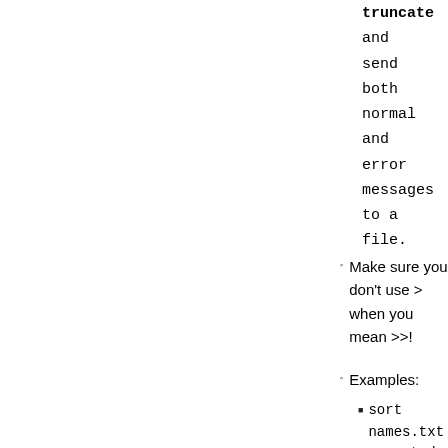truncate and send both normal and error messages to a file.
Make sure you don't use > when you mean >>!
Examples:
sort names.txt > sorted-names.txt